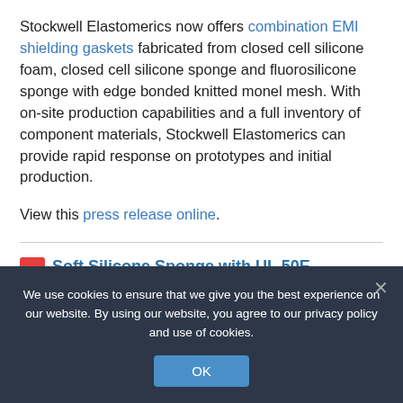Stockwell Elastomerics now offers combination EMI shielding gaskets fabricated from closed cell silicone foam, closed cell silicone sponge and fluorosilicone sponge with edge bonded knitted monel mesh. With on-site production capabilities and a full inventory of component materials, Stockwell Elastomerics can provide rapid response on prototypes and initial production.
View this press release online.
Soft Silicone Sponge with UL 50E Recognition Now Available as Gasket Tape from Stockwell
We use cookies to ensure that we give you the best experience on our website. By using our website, you agree to our privacy policy and use of cookies.